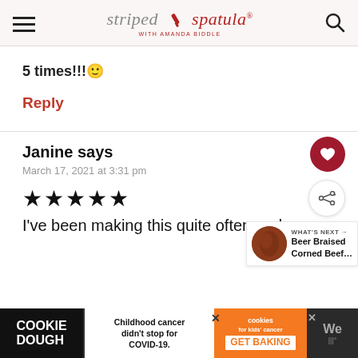striped spatula with Amanda Biddle
5 times!!!🙂
Reply
Janine says
March 17, 2021 at 3:31 pm
[Figure (other): 5 filled star rating icons]
I've been making this quite often and
[Figure (infographic): COOKIE DOUGH ad banner: Childhood cancer didn't stop for COVID-19. cookies for kids cancer GET BAKING. We logo with X close button.]